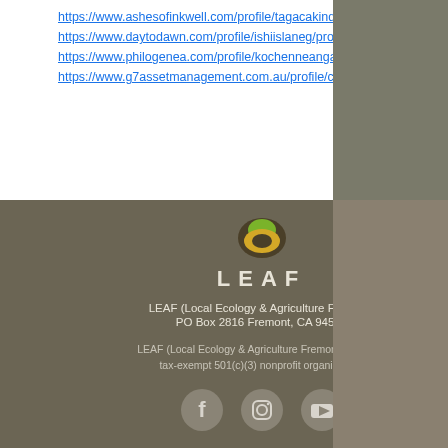https://www.ashesofinkwell.com/profile/tagacakindled/profile
https://www.daytodawn.com/profile/ishiislaneg/profile
https://www.philogenea.com/profile/kochenneanga/profile
https://www.g7assetmanagement.com.au/profile/cumbobyarsz/profile
[Figure (logo): LEAF logo with stylized leaf icon above the letters LEAF in bold spaced typography]
LEAF (Local Ecology & Agriculture Fremont)
PO Box 2816 Fremont, CA 94536
LEAF (Local Ecology & Agriculture Fremont) is a U.S. tax-exempt 501(c)(3) nonprofit organization.
[Figure (other): Social media icons: Facebook, Instagram, YouTube in circular grey buttons]